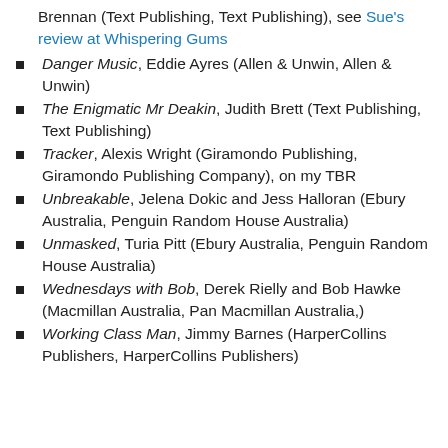Brennan (Text Publishing, Text Publishing), see Sue's review at Whispering Gums
Danger Music, Eddie Ayres (Allen & Unwin, Allen & Unwin)
The Enigmatic Mr Deakin, Judith Brett (Text Publishing, Text Publishing)
Tracker, Alexis Wright (Giramondo Publishing, Giramondo Publishing Company), on my TBR
Unbreakable, Jelena Dokic and Jess Halloran (Ebury Australia, Penguin Random House Australia)
Unmasked, Turia Pitt (Ebury Australia, Penguin Random House Australia)
Wednesdays with Bob, Derek Rielly and Bob Hawke (Macmillan Australia, Pan Macmillan Australia,)
Working Class Man, Jimmy Barnes (HarperCollins Publishers, HarperCollins Publishers)